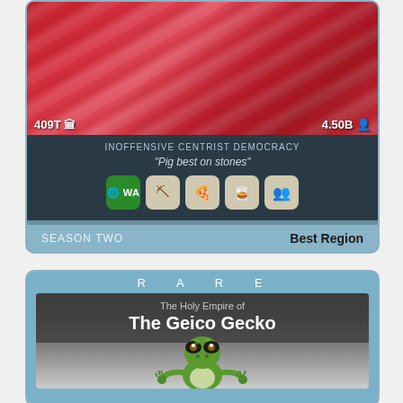[Figure (screenshot): NationStates trading card - red silk fabric background with stats overlay showing 409T and 4.50B, game type INOFFENSIVE CENTRIST DEMOCRACY, motto Pig best on stones, WA and other icon buttons]
INOFFENSIVE CENTRIST DEMOCRACY
"Pig best on stones"
SEASON TWO
Best Region
R A R E
[Figure (screenshot): NationStates trading card - The Holy Empire of The Geico Gecko, showing a green gecko lizard in a meditation pose on a gradient background]